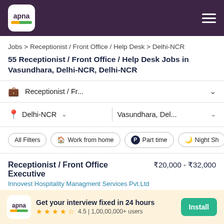apna
Jobs > Receptionist / Front Office / Help Desk > Delhi-NCR
55 Receptionist / Front Office / Help Desk Jobs in Vasundhara, Delhi-NCR, Delhi-NCR
Receptionist / Fr... ∨
Delhi-NCR ∨ | Vasundhara, Del... ∨
All Filters
Work from home
Part time
Night Sh
Receptionist / Front Office Executive  ₹20,000 - ₹32,000
Innovest Hospitality Managment Services Pvt.Ltd
Get your interview fixed in 24 hours  4.5 | 1,00,00,000+ users  Install